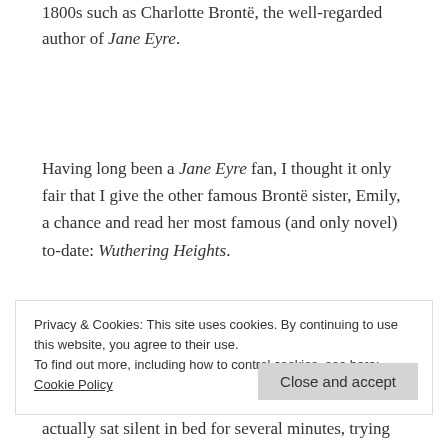1800s such as Charlotte Brontë, the well-regarded author of Jane Eyre.
Having long been a Jane Eyre fan, I thought it only fair that I give the other famous Brontë sister, Emily, a chance and read her most famous (and only novel) to-date: Wuthering Heights.
Privacy & Cookies: This site uses cookies. By continuing to use this website, you agree to their use. To find out more, including how to control cookies, see here: Cookie Policy
actually sat silent in bed for several minutes, trying to